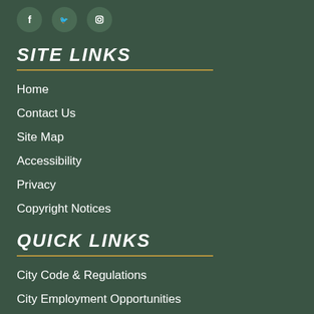[Figure (illustration): Three circular social media icons for Facebook, Twitter, and Instagram on dark green background]
SITE LINKS
Home
Contact Us
Site Map
Accessibility
Privacy
Copyright Notices
QUICK LINKS
City Code & Regulations
City Employment Opportunities